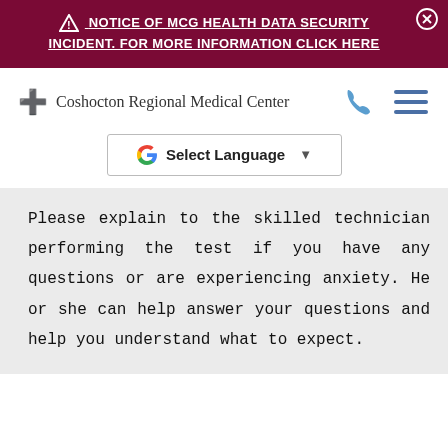⚠ NOTICE OF MCG HEALTH DATA SECURITY INCIDENT. FOR MORE INFORMATION CLICK HERE
[Figure (logo): Coshocton Regional Medical Center logo with red cross and text]
[Figure (other): Google Translate Select Language dropdown bar]
Please explain to the skilled technician performing the test if you have any questions or are experiencing anxiety. He or she can help answer your questions and help you understand what to expect.